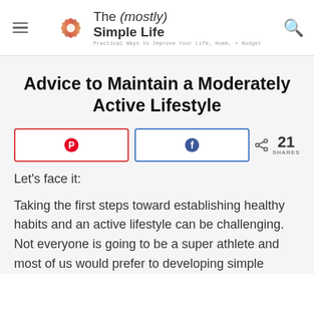The (mostly) Simple Life — Practical Ways to Improve Your Life, Home, + Budget
Advice to Maintain a Moderately Active Lifestyle
[Figure (infographic): Pinterest and Facebook share buttons with 21 shares count]
Let's face it:
Taking the first steps toward establishing healthy habits and an active lifestyle can be challenging. Not everyone is going to be a super athlete and most of us would prefer to developing simple